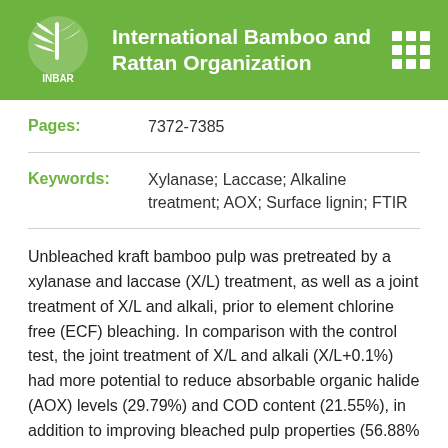International Bamboo and Rattan Organization
| Field | Value |
| --- | --- |
| Pages: | 7372-7385 |
| Keywords: | Xylanase; Laccase; Alkaline treatment; AOX; Surface lignin; FTIR |
Unbleached kraft bamboo pulp was pretreated by a xylanase and laccase (X/L) treatment, as well as a joint treatment of X/L and alkali, prior to element chlorine free (ECF) bleaching. In comparison with the control test, the joint treatment of X/L and alkali (X/L+0.1%) had more potential to reduce absorbable organic halide (AOX) levels (29.79%) and COD content (21.55%), in addition to improving bleached pulp properties (56.88% decrease in kappa number and 8.94 % ISO increased in brightness). Moreover, the treatment of X/L+0.1%